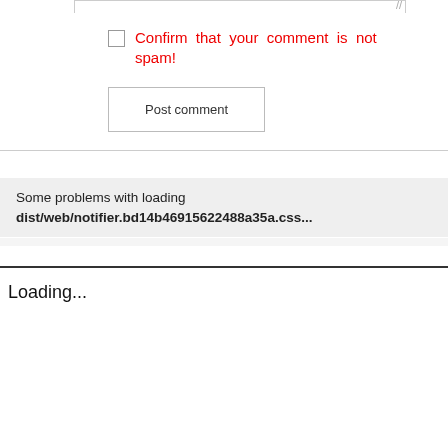Confirm that your comment is not spam!
Post comment
Some problems with loading dist/web/notifier.bd14b46915622488a35a.css...
Your comment...
Send
Loading...